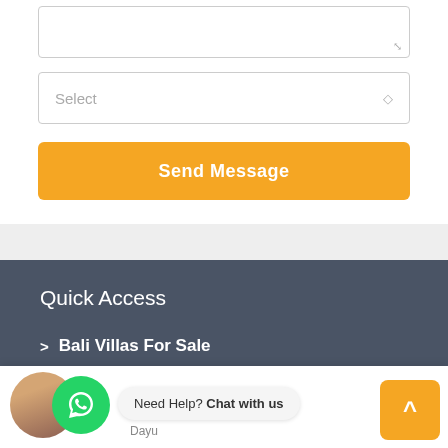[Figure (screenshot): Textarea input field (partially visible, empty) with resize handle at bottom-right]
[Figure (screenshot): Select dropdown input field with placeholder text 'Select' and chevron icon on the right]
Send Message
Quick Access
Bali Villas For Sale
Bali Land For Sale
[Figure (screenshot): WhatsApp chat widget with green circle WhatsApp icon, profile photo, chat bubble saying 'Need Help? Chat with us', and name 'Dayu' below]
[Figure (other): Yellow scroll-to-top button with upward arrow chevron in bottom right corner]